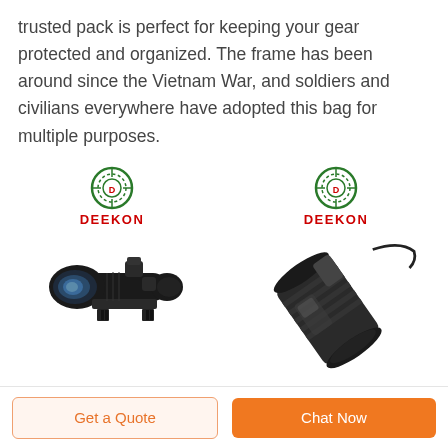trusted pack is perfect for keeping your gear protected and organized. The frame has been around since the Vietnam War, and soldiers and civilians everywhere have adopted this bag for multiple purposes.
[Figure (photo): Deekon branded rifle scope (black, with blue lens) on a mount rail, product photo with Deekon crosshair logo above]
[Figure (photo): Deekon branded cylindrical black flashlight or laser device with strap attached, product photo with Deekon crosshair logo above]
Get a Quote
Chat Now